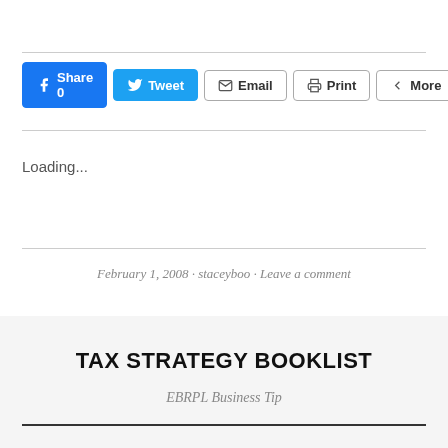[Figure (infographic): Social sharing buttons row: Facebook Share 0, Tweet, Email, Print, More]
Loading...
February 1, 2008 · staceyboo · Leave a comment
TAX STRATEGY BOOKLIST
EBRPL Business Tip